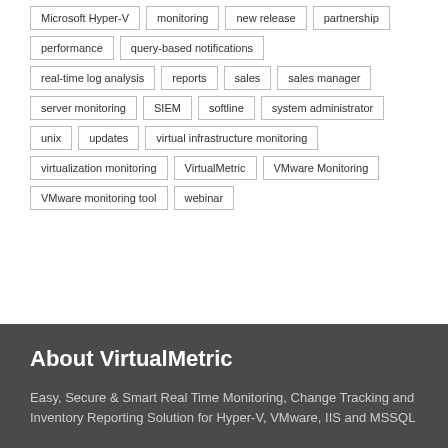Microsoft Hyper-V
monitoring
new release
partnership
performance
query-based notifications
real-time log analysis
reports
sales
sales manager
server monitoring
SIEM
softline
system administrator
unix
updates
virtual infrastructure monitoring
virtualization monitoring
VirtualMetric
VMware Monitoring
VMware monitoring tool
webinar
About VirtualMetric
Easy, Secure & Smart Real Time Monitoring, Change Tracking and Inventory Reporting Solution for Hyper-V, VMware, IIS and MSSQL